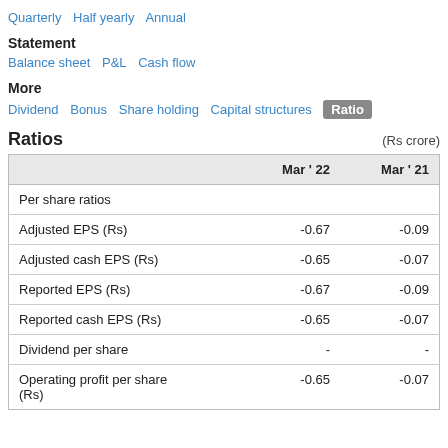Quarterly  Half yearly  Annual
Statement
Balance sheet  P&L  Cash flow
More
Dividend  Bonus  Share holding  Capital structures  Ratio
Ratios  (Rs crore)
|  | Mar ' 22 | Mar ' 21 |
| --- | --- | --- |
| Per share ratios |  |  |
| Adjusted EPS (Rs) | -0.67 | -0.09 |
| Adjusted cash EPS (Rs) | -0.65 | -0.07 |
| Reported EPS (Rs) | -0.67 | -0.09 |
| Reported cash EPS (Rs) | -0.65 | -0.07 |
| Dividend per share | - | - |
| Operating profit per share (Rs) | -0.65 | -0.07 |